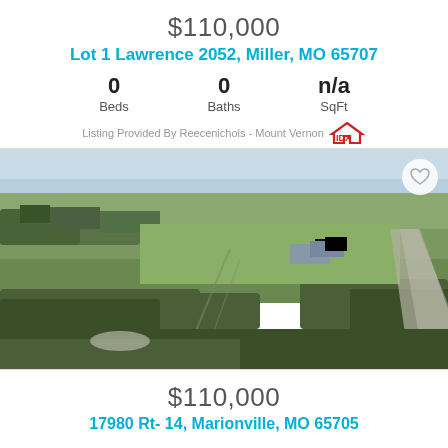$110,000
Lot 1 Lawrence 2052, Miller, MO 65707
| Beds | Baths | SqFt |
| --- | --- | --- |
| 0 | 0 | n/a |
Listing Provided By Reecenichols - Mount Vernon IDX
[Figure (photo): Aerial drone photograph of rural Missouri land lot showing open green fields, scattered bare trees, a small pond in the upper left, farm structures in the middle distance, and a road on the right side. Clear winter/early spring conditions.]
$110,000
17980 Rt- 14, Marionville, MO 65705